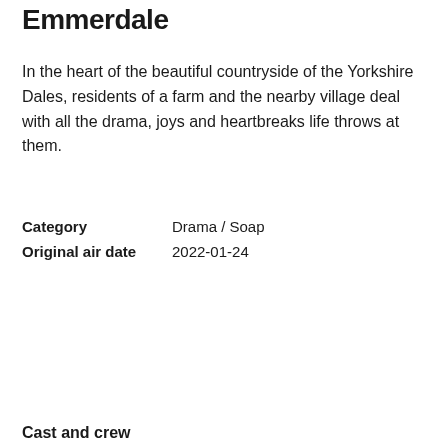Emmerdale
In the heart of the beautiful countryside of the Yorkshire Dales, residents of a farm and the nearby village deal with all the drama, joys and heartbreaks life throws at them.
| Category | Drama / Soap |
| Original air date | 2022-01-24 |
Cast and crew